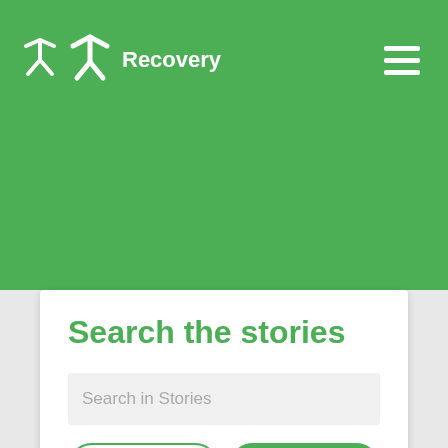[Figure (logo): Recovery app logo: white arrow/chevron icon with text 'Recovery' in white on green background]
Search the stories
Search in Stories
Who
Diagnosis
Method
Media
Clear
Search